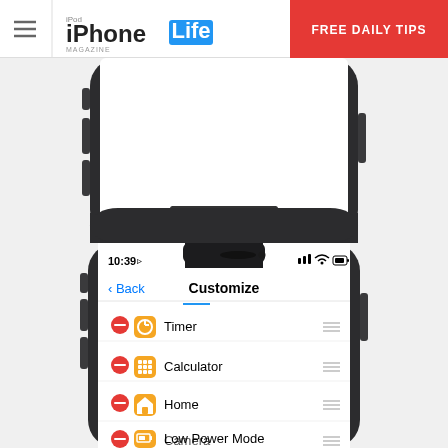iPhone Life Magazine — FREE DAILY TIPS
[Figure (screenshot): Bottom portion of iPhone X showing home indicator bar on white screen, phone in dark gray frame]
[Figure (screenshot): iPhone X showing Customize screen at 10:39, with list items: Timer, Calculator, Home, Low Power Mode, Camera — each with red minus button, orange icon, and drag handle]